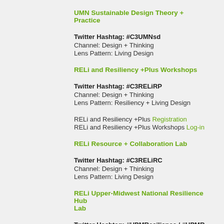UMN Sustainable Design Theory + Practice
Twitter Hashtag: #C3UMNsd
Channel: Design + Thinking
Lens Pattern: Living Design
RELi and Resiliency +Plus Workshops
Twitter Hashtag: #C3RELiRP
Channel: Design + Thinking
Lens Pattern: Resiliency + Living Design
RELi and Resiliency +Plus Registration
RELi and Resiliency +Plus Workshops Log-in
RELi Resource + Collaboration Lab
Twitter Hashtag: #C3RELiRC
Channel: Design + Thinking
Lens Pattern: Living Design
RELi Upper-Midwest National Resilience Hub Lab
Twitter Hashtag: #UPMResilience / #UPMR
Channel: Design + Thinking
Lens Pattern: Living Design